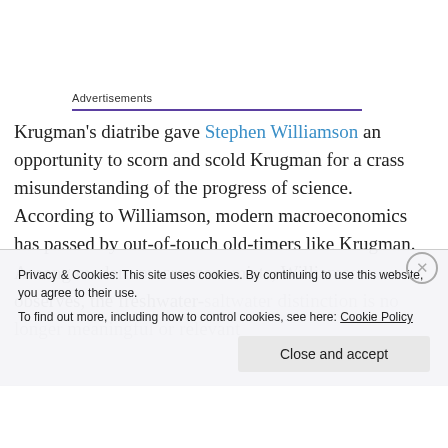Advertisements
Krugman's diatribe gave Stephen Williamson an opportunity to scorn and scold Krugman for a crass misunderstanding of the progress of science. According to Williamson, modern macroeconomics has passed by out-of-touch old-timers like Krugman. Among modern macroeconomists, Williamson observes, the freshwater-saltwater distinction is no longer meaningful or relevant
Privacy & Cookies: This site uses cookies. By continuing to use this website, you agree to their use.
To find out more, including how to control cookies, see here: Cookie Policy
Close and accept